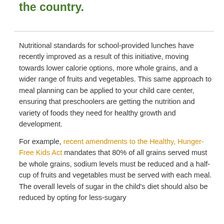the country.
Nutritional standards for school-provided lunches have recently improved as a result of this initiative, moving towards lower calorie options, more whole grains, and a wider range of fruits and vegetables. This same approach to meal planning can be applied to your child care center, ensuring that preschoolers are getting the nutrition and variety of foods they need for healthy growth and development.
For example, recent amendments to the Healthy, Hunger-Free Kids Act mandates that 80% of all grains served must be whole grains, sodium levels must be reduced and a half-cup of fruits and vegetables must be served with each meal. The overall levels of sugar in the child's diet should also be reduced by opting for less-sugary